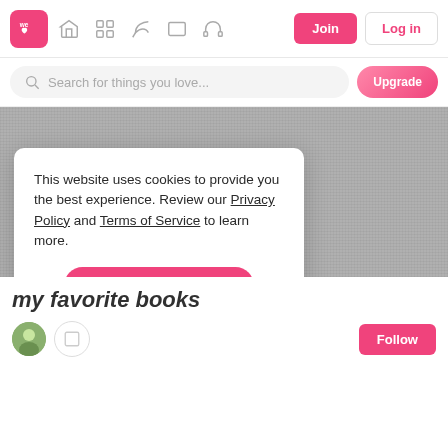[Figure (screenshot): We Heart It website navigation bar with logo, icons, Join and Log in buttons]
[Figure (screenshot): Search bar with 'Search for things you love...' placeholder and Upgrade button]
[Figure (screenshot): Grey textured background image area]
This website uses cookies to provide you the best experience. Review our Privacy Policy and Terms of Service to learn more.
Accept Cookies
Only users 16 years or older may use We Heart It.
my favorite books
Follow